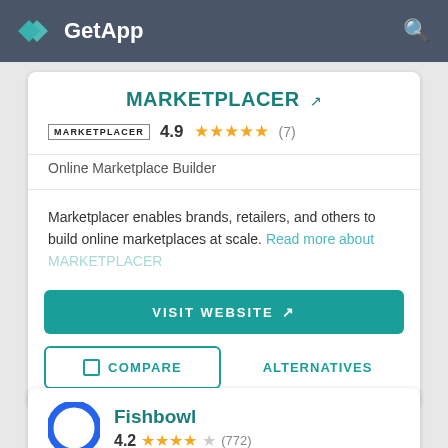GetApp
MARKETPLACER
4.9 ★★★★★ (7)
Online Marketplace Builder
Marketplacer enables brands, retailers, and others to build online marketplaces at scale. Read more about MARKETPLACER
VISIT WEBSITE
COMPARE
ALTERNATIVES
Fishbowl
4.2 ★★★★ (772)